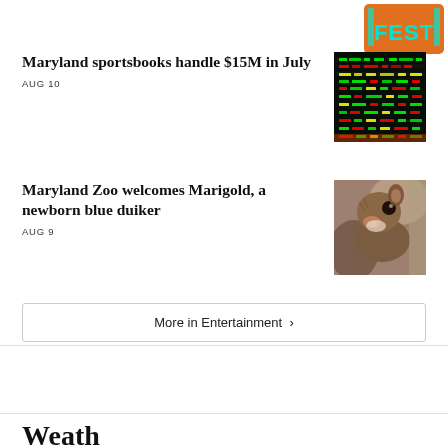[Figure (logo): FEST logo in teal/cyan on orange background, top right corner]
Maryland sportsbooks handle $15M in July
AUG 10
[Figure (photo): Sports betting board with colorful green, red, yellow data on dark background]
Maryland Zoo welcomes Marigold, a newborn blue duiker
AUG 9
[Figure (photo): Close-up photo of a small brown baby blue duiker animal]
More in Entertainment ›
Weather